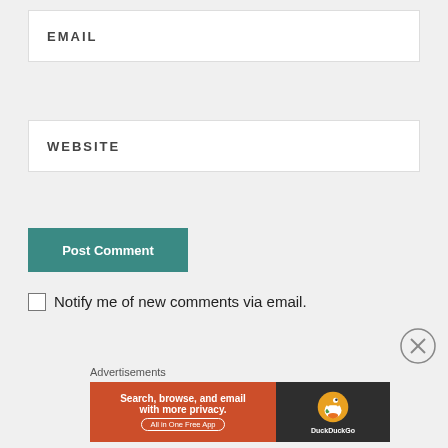EMAIL
WEBSITE
Post Comment
Notify me of new comments via email.
Advertisements
[Figure (screenshot): DuckDuckGo advertisement banner: orange left section with text 'Search, browse, and email with more privacy. All in One Free App', dark right section with DuckDuckGo duck logo and brand name.]